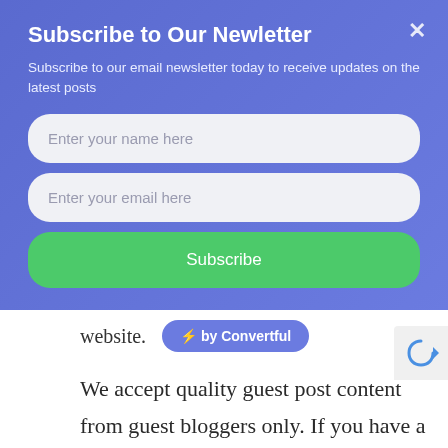Subscribe to Our Newletter
Subscribe to our email newsletter today to receive updates on the latest posts
Enter your name here
Enter your email here
Subscribe
website.
[Figure (other): by Convertful badge with lightning bolt icon]
We accept quality guest post content from guest bloggers only. If you have a creative and modern content idea to write
[Figure (infographic): Advertisement banner: Just $2 can protect 1 acre of irreplaceable forest homes in the Amazon. How many acres are you willing to protect? PROTECT FORESTS NOW]